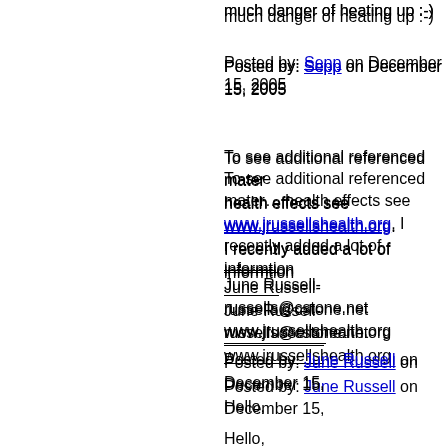much danger of heating up :-)
Posted by: Sepp on December 15, 2005
To see additional referenced material on health effects see www.jrussellshealth.org. I recently added a lot of information
June Russell- russells@cstone.net
www.jrussellshealth.org
Posted by: June Russell on December 15,
Hello,
I am doing a project on cell phone some info on what kind of dangers
Regards,
Tanya Ashton
Posted by: Tanya Ashton on March 22, 20